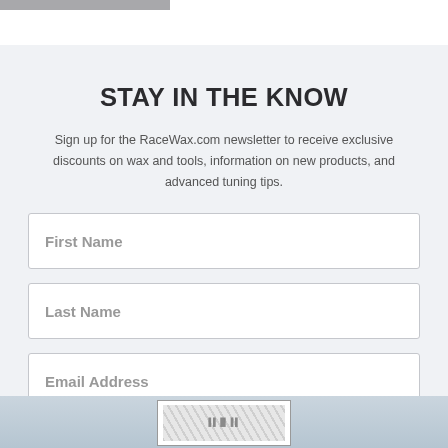STAY IN THE KNOW
Sign up for the RaceWax.com newsletter to receive exclusive discounts on wax and tools, information on new products, and advanced tuning tips.
First Name
Last Name
Email Address
[Figure (other): CAPTCHA verification image at bottom of newsletter signup form]